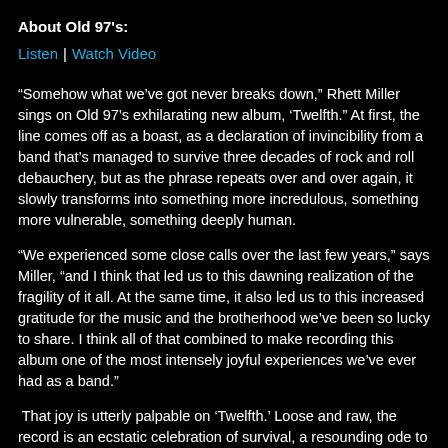About Old 97's:
Listen | Watch Video
“Somehow what we’ve got never breaks down,” Rhett Miller sings on Old 97’s exhilarating new album, ‘Twelfth.” At first, the line comes off as a boast, as a declaration of invincibility from a band that’s managed to survive three decades of rock and roll debauchery, but as the phrase repeats over and over again, it slowly transforms into something more incredulous, something more vulnerable, something deeply human.
“We experienced some close calls over the last few years,” says Miller, “and I think that led us to this dawning realization of the fragility of it all. At the same time, it also led us to this increased gratitude for the music and the brotherhood we’ve been so lucky to share. I think all of that combined to make recording this album one of the most intensely joyful experiences we’ve ever had as a band.”
That joy is utterly palpable on ‘Twelfth.’ Loose and raw, the record is an ecstatic celebration of survival, a resounding ode to endurance and resilience from a veteran group that refuses to rest